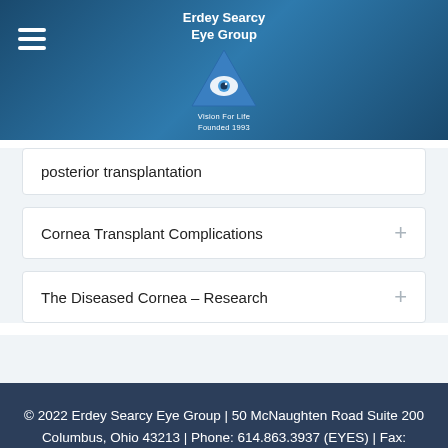[Figure (logo): Erdey Searcy Eye Group logo with triangle/eye graphic, teal header background with hamburger menu icon]
posterior transplantation
Cornea Transplant Complications
The Diseased Cornea – Research
© 2022 Erdey Searcy Eye Group | 50 McNaughten Road Suite 200 Columbus, Ohio 43213 | Phone: 614.863.3937 (EYES) | Fax: 614.863.5010 | DISCLAIMER
Website by Marcy Design